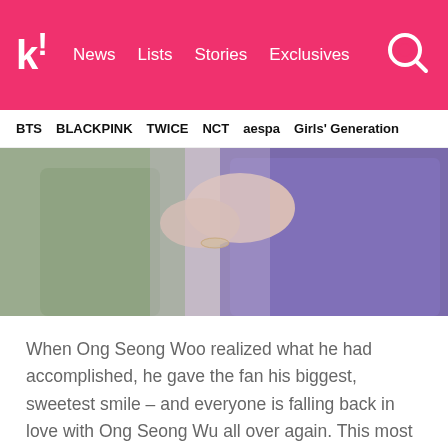k! News  Lists  Stories  Exclusives
BTS  BLACKPINK  TWICE  NCT  aespa  Girls' Generation
[Figure (photo): Close-up photo of two people, one in a grey/green outfit and one in a purple hoodie, hands visible near the shoulder area.]
When Ong Seong Woo realized what he had accomplished, he gave the fan his biggest, sweetest smile – and everyone is falling back in love with Ong Seong Wu all over again. This most adorable little interaction between him and the fan is making the fans UWU so hard for Ong Seong Wu!